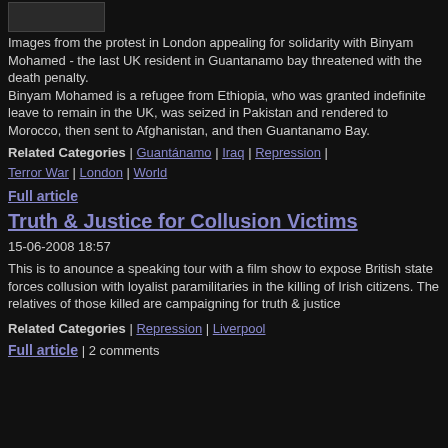[Figure (photo): Small thumbnail image at top left, dark content]
Images from the protest in London appealing for solidarity with Binyam Mohamed - the last UK resident in Guantanamo bay threatened with the death penalty.
Binyam Mohamed is a refugee from Ethiopia, who was granted indefinite leave to remain in the UK, was seized in Pakistan and rendered to Morocco, then sent to Afghanistan, and then Guantanamo Bay.
Related Categories | Guantánamo | Iraq | Repression | Terror War | London | World
Full article
Truth & Justice for Collusion Victims
15-06-2008 18:57
This is to anounce a speaking tour with a film show to expose British state forces collusion with loyalist paramilitaries in the killing of Irish citizens. The relatives of those killed are campaigning for truth & justice
Related Categories | Repression | Liverpool
Full article | 2 comments